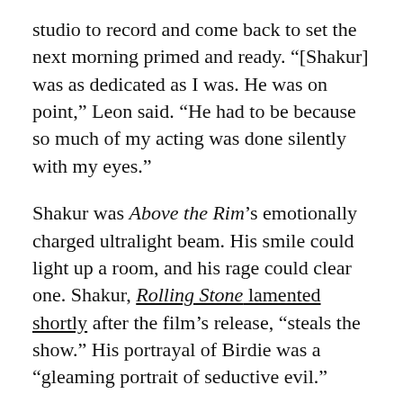studio to record and come back to set the next morning primed and ready. “[Shakur] was as dedicated as I was. He was on point,” Leon said. “He had to be because so much of my acting was done silently with my eyes.”
Shakur was Above the Rim’s emotionally charged ultralight beam. His smile could light up a room, and his rage could clear one. Shakur, Rolling Stone lamented shortly after the film’s release, “steals the show.” His portrayal of Birdie was a “gleaming portrait of seductive evil.”
Shakur’s presence in the film is a beautiful reminder of what was. Wayans can still hear his own mother warning him. “ ‘Baby…’ ” Wayans re-enacts her, “I want you to be safe. [Shakur’s] a wonderful kid. I can see the talent in him. But you be careful of the